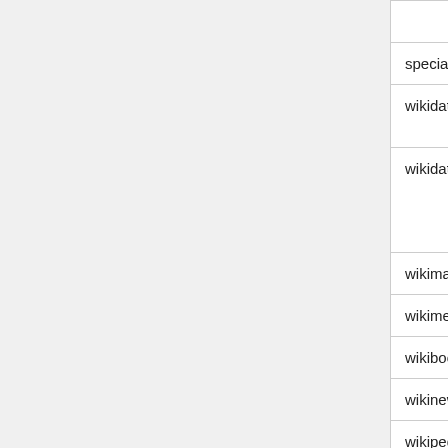| File | Description |
| --- | --- |
| special.dblist | All special wikis |
| wikidata.dblist | All wikis running t… repo |
| wikidataclient.dblist | All wikis running t… client (most new project wikis shou… this) |
| wikimania.dblist | All Wikimania wik… |
| wikimedia.dblist | All chapter wikis |
| wikibooks.dblist | All Wikibooks wik… |
| wikinews.dblist | All Wikinews wiki… |
| wikipedia.dblist | All Wikipedia wiki… |
| wikiquote.dblist | All Wikiquote wiki… |
| wikisource.dblist | All Wikisource wi… |
| wikiversity.dblist | All Wikiversity wi… |
| wikivoyage.dblist | All Wikivoyage w… |